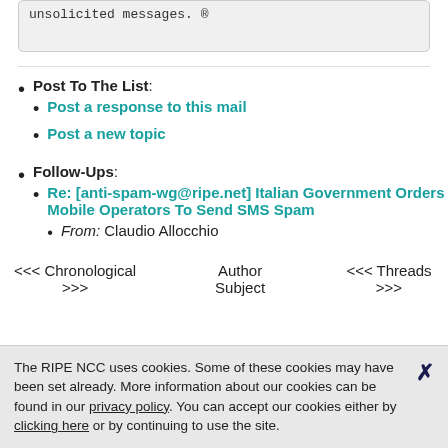unsolicited messages. ®
Post To The List:
Post a response to this mail
Post a new topic
Follow-Ups:
Re: [anti-spam-wg@ripe.net] Italian Government Orders Mobile Operators To Send SMS Spam
From: Claudio Allocchio
<<< Chronological >>>
Author
Subject
<<< Threads >>>
The RIPE NCC uses cookies. Some of these cookies may have been set already. More information about our cookies can be found in our privacy policy. You can accept our cookies either by clicking here or by continuing to use the site.